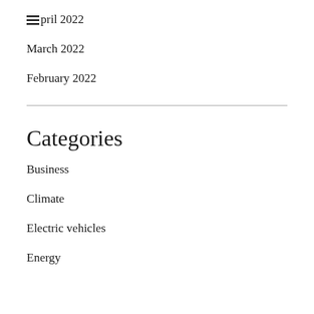April 2022
March 2022
February 2022
Categories
Business
Climate
Electric vehicles
Energy